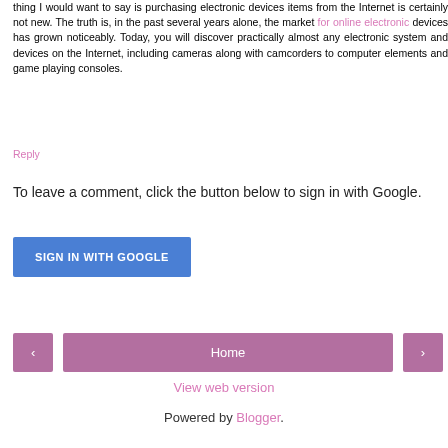thing I would want to say is purchasing electronic devices items from the Internet is certainly not new. The truth is, in the past several years alone, the market for online electronic devices has grown noticeably. Today, you will discover practically almost any electronic system and devices on the Internet, including cameras along with camcorders to computer elements and game playing consoles.
Reply
To leave a comment, click the button below to sign in with Google.
SIGN IN WITH GOOGLE
‹
Home
›
View web version
Powered by Blogger.